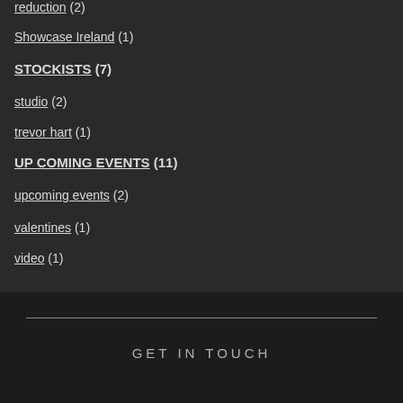reduction  (2)
Showcase Ireland  (1)
STOCKISTS  (7)
studio  (2)
trevor hart  (1)
UP COMING EVENTS  (11)
upcoming events  (2)
valentines  (1)
video  (1)
GET IN TOUCH